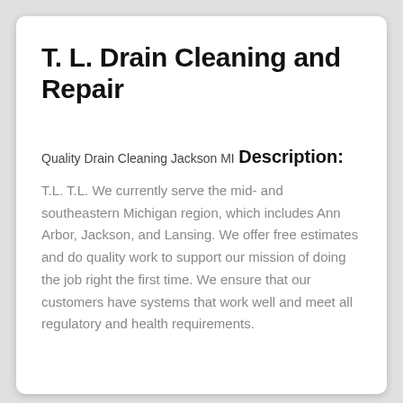T. L. Drain Cleaning and Repair
Quality Drain Cleaning Jackson MI
Description:
T.L. T.L. We currently serve the mid- and southeastern Michigan region, which includes Ann Arbor, Jackson, and Lansing. We offer free estimates and do quality work to support our mission of doing the job right the first time. We ensure that our customers have systems that work well and meet all regulatory and health requirements.